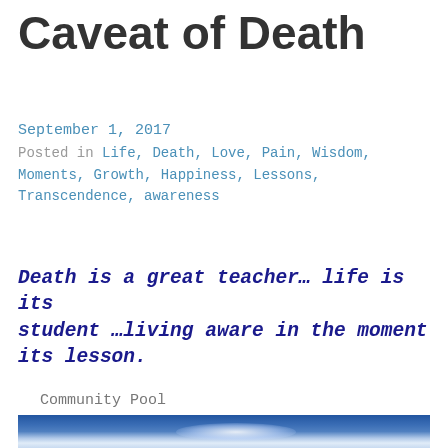Caveat of Death
September 1, 2017
Posted in Life, Death, Love, Pain, Wisdom, Moments, Growth, Happiness, Lessons, Transcendence, awareness
Death is a great teacher… life is its student …living aware in the moment its lesson.
Community Pool
[Figure (photo): A blue-toned image, likely an underwater or abstract photo with a glowing white/light element in the center against a deep blue background.]